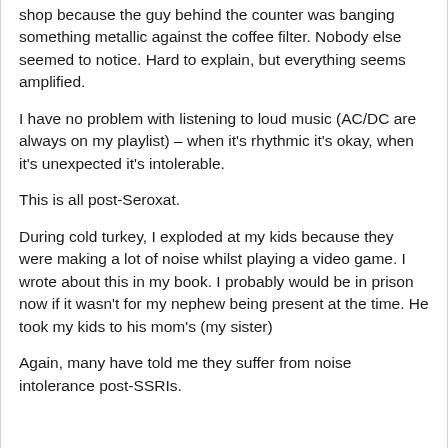shop because the guy behind the counter was banging something metallic against the coffee filter. Nobody else seemed to notice. Hard to explain, but everything seems amplified.
I have no problem with listening to loud music (AC/DC are always on my playlist) – when it's rhythmic it's okay, when it's unexpected it's intolerable.
This is all post-Seroxat.
During cold turkey, I exploded at my kids because they were making a lot of noise whilst playing a video game. I wrote about this in my book. I probably would be in prison now if it wasn't for my nephew being present at the time. He took my kids to his mom's (my sister)
Again, many have told me they suffer from noise intolerance post-SSRIs.